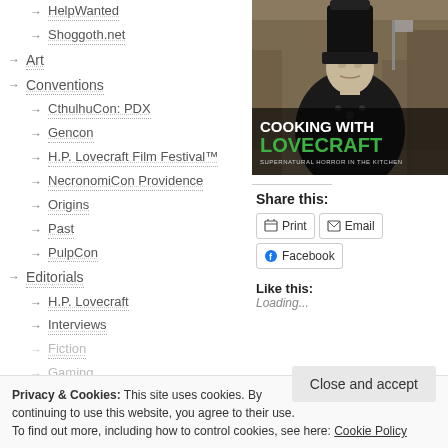→ HelpWanted
→ Shoggoth.net
→ Art
→ Conventions
→ CthulhuCon: PDX
→ Gencon
→ H.P. Lovecraft Film Festival™
→ NecronomiCon Providence
→ Origins
→ Past
→ PulpCon
→ Editorials
→ H.P. Lovecraft
→ Interviews
→ Fiction
→ Gaming
→ Augustus Cantos
→ Creatures
[Figure (photo): Book cover for 'Cooking with Lovecraft: Supernatural Horror in the Kitchen' showing a man in a chef's hat in a sepia-toned vintage photo setting]
Share this:
Print | Email | Facebook
Like this: Loading...
Privacy & Cookies: This site uses cookies. By continuing to use this website, you agree to their use. To find out more, including how to control cookies, see here: Cookie Policy